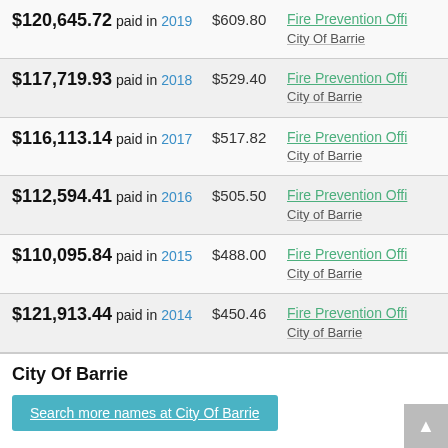| Salary | Extra | Role/Employer |
| --- | --- | --- |
| $120,645.72 paid in 2019 | $609.80 | Fire Prevention Offi... / City Of Barrie |
| $117,719.93 paid in 2018 | $529.40 | Fire Prevention Offi... / City of Barrie |
| $116,113.14 paid in 2017 | $517.82 | Fire Prevention Offi... / City of Barrie |
| $112,594.41 paid in 2016 | $505.50 | Fire Prevention Offi... / City of Barrie |
| $110,095.84 paid in 2015 | $488.00 | Fire Prevention Offi... / City of Barrie |
| $121,913.44 paid in 2014 | $450.46 | Fire Prevention Offi... / City of Barrie |
City Of Barrie
Search more names at City Of Barrie